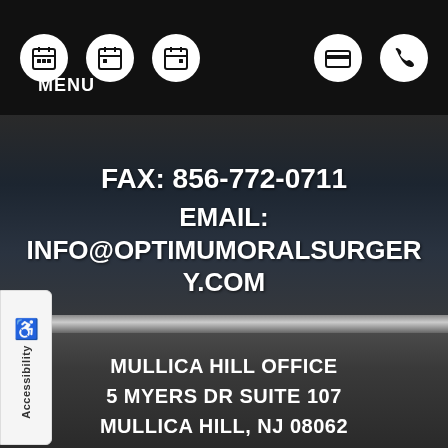[Figure (screenshot): Top navigation bar with calendar icons (3 on left), credit card and phone icons (2 on right), all in white circles on black background]
MENU
FAX: 856-772-0711
EMAIL: INFO@OPTIMUMORALSURGERY.COM
MULLICA HILL OFFICE
5 MYERS DR SUITE 107
MULLICA HILL, NJ 08062
MAP/DIRECTIONS
PHONE: (856) 437-4432
Accessibility